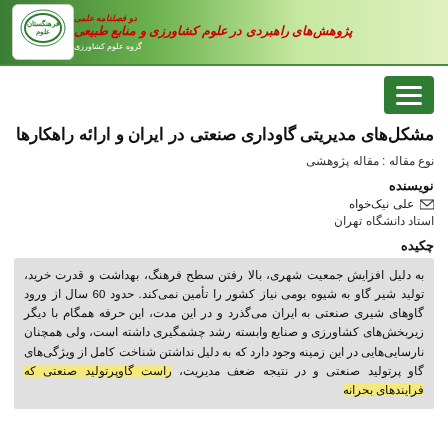دو فصلنامه علمی پژوهش‌های راهبردی در علوم کشاورزی و منابع طبیعی
مشکل‌های مدیریتی گاوداری صنعتی در ایران و ارائه راهکارها
نوع مقاله : مقاله پژوهشی
نویسنده
علی نیک‌خواه
استاد دانشگاه تهران
چکیده
به دلیل افزایش جمعیت شهری، بالا رفتن سطح فرهنگ، بهداشت و قدرت خرید، تولید شیر گاو به شیوه بومی نیاز کشور را تأمین نمی‌کند. حدود 60 سال از ورود گاوهای شیری صنعتی به ایران می‌گذرد و در این مدت، این حرفه همگام با دیگر زیربخش‌های کشاورزی و صنایع وابسته رشد چشمگیری داشته است، ولی همچنان نارسایی‌هایی در این زمینه وجود دارد که به دلیل نداشتن شناخت کامل از ویژگی‌های گاو پرتولید صنعتی و در نتیجه ضعف مدیریت، راست گاوپرتولید صنعتی که فرایندهای بحرانه